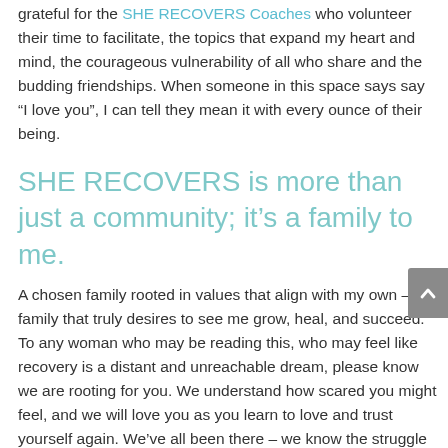grateful for the SHE RECOVERS Coaches who volunteer their time to facilitate, the topics that expand my heart and mind, the courageous vulnerability of all who share and the budding friendships. When someone in this space says say “I love you”, I can tell they mean it with every ounce of their being.
SHE RECOVERS is more than just a community; it’s a family to me.
A chosen family rooted in values that align with my own – a family that truly desires to see me grow, heal, and succeed. To any woman who may be reading this, who may feel like recovery is a distant and unreachable dream, please know we are rooting for you. We understand how scared you might feel, and we will love you as you learn to love and trust yourself again. We’ve all been there – we know the struggle of embarking on an unknown journey of recovery, but we also know the joy of